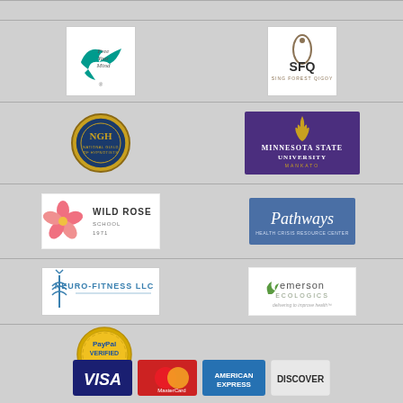[Figure (logo): Free Your Mind logo - teal bird with text 'Free Your Mind']
[Figure (logo): SFQ - Sing Forest Qigoy logo with oval shape]
[Figure (logo): NGH National Guild of Hypnotists circular seal logo]
[Figure (logo): Minnesota State University Mankato logo - purple background with gold flame]
[Figure (logo): Wild Rose School logo with pink flower]
[Figure (logo): Pathways Health Crisis Resource Center logo - blue background]
[Figure (logo): Neuro-Fitness LLC logo with caduceus symbol]
[Figure (logo): Emerson Ecologics - delivering to improve health logo]
[Figure (logo): PayPal Verified gold seal]
[Figure (logo): Payment method logos: VISA, MasterCard, American Express, Discover]